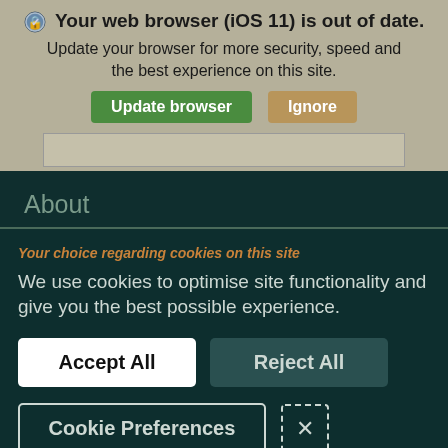Your web browser (iOS 11) is out of date. Update your browser for more security, speed and the best experience on this site.
Update browser | Ignore
About
Your choice regarding cookies on this site
We use cookies to optimise site functionality and give you the best possible experience.
Accept All | Reject All
Cookie Preferences